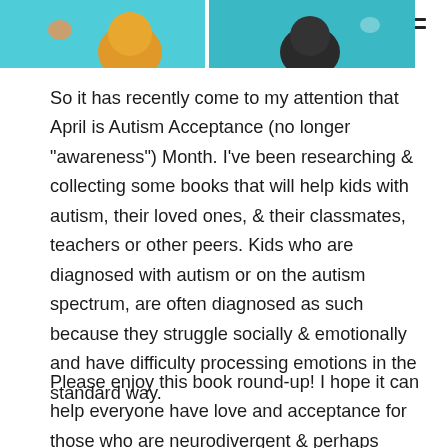[Figure (photo): Partial image strip at top of page showing illustrated children against a teal/cyan background, cropped at the top.]
So it has recently come to my attention that April is Autism Acceptance (no longer "awareness") Month. I've been researching & collecting some books that will help kids with autism, their loved ones, & their classmates, teachers or other peers. Kids who are diagnosed with autism or on the autism spectrum, are often diagnosed as such because they struggle socially & emotionally and have difficulty processing emotions in the standard way.
Please enjoy this book round-up! I hope it can help everyone have love and acceptance for those who are neurodivergent & perhaps better understand them, and